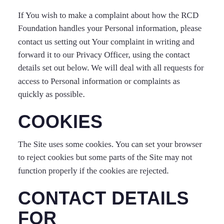If You wish to make a complaint about how the RCD Foundation handles your Personal information, please contact us setting out Your complaint in writing and forward it to our Privacy Officer, using the contact details set out below. We will deal with all requests for access to Personal information or complaints as quickly as possible.
COOKIES
The Site uses some cookies. You can set your browser to reject cookies but some parts of the Site may not function properly if the cookies are rejected.
CONTACT DETAILS FOR OUR PRIVACY OFFICER